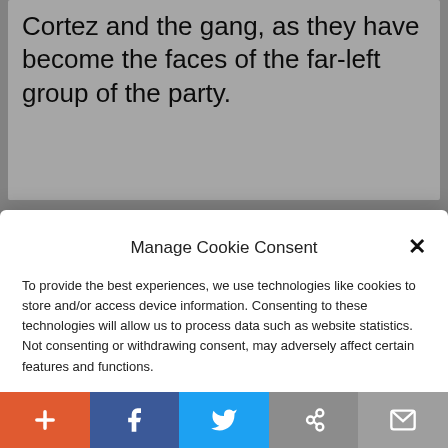Cortez and the gang, as they have become the faces of the far-left group of the party.
Manage Cookie Consent
To provide the best experiences, we use technologies like cookies to store and/or access device information. Consenting to these technologies will allow us to process data such as website statistics. Not consenting or withdrawing consent, may adversely affect certain features and functions.
Accept
Cookie Policy  Privacy Policy
control over the House in jeopardy. “If all voters hear about is A.O.C. it could put